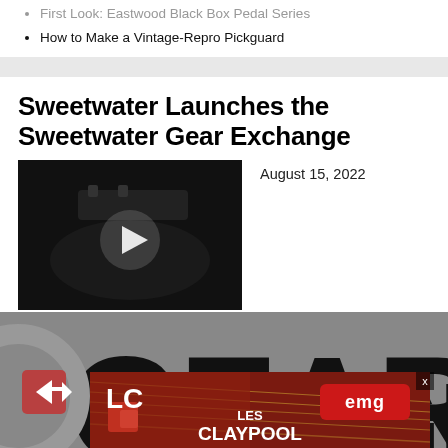First Look: Eastwood Black Box Pedal Series
How to Make a Vintage-Repro Pickguard
Sweetwater Launches the Sweetwater Gear Exchange
[Figure (screenshot): Video thumbnail with black background and white play button triangle, showing a dark guitar-related image]
August 15, 2022
[Figure (photo): Large 'GEAR' text logo on gray background with circular arrow icon, with an advertisement banner overlay showing Les Claypool EMG pickup set with guitar strings in reddish-brown background]